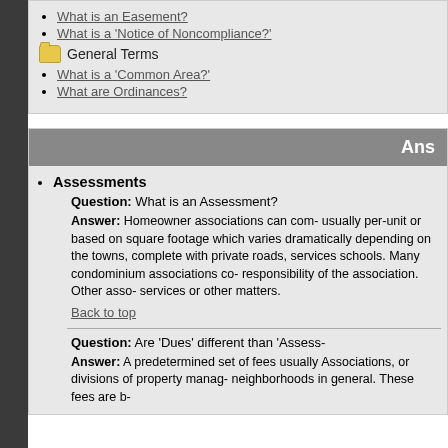What is an Easement?
What is a 'Notice of Noncompliance?'
General Terms
What is a 'Common Area?'
What are Ordinances?
Ans
Assessments
Question: What is an Assessment?
Answer: Homeowner associations can com- usually per-unit or based on square footage which varies dramatically depending on the towns, complete with private roads, services schools. Many condominium associations co- responsibility of the association. Other asso- services or other matters.
Back to top
Question: Are 'Dues' different than 'Assess-
Answer: A predetermined set of fees usually Associations, or divisions of property manag- neighborhoods in general. These fees are b-